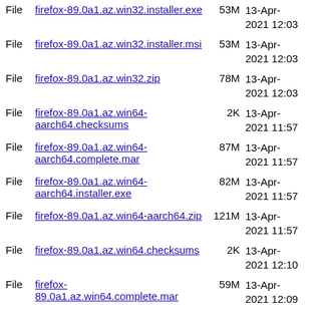File  firefox-89.0a1.az.win32.installer.exe  53M  13-Apr-2021 12:03
File  firefox-89.0a1.az.win32.installer.msi  53M  13-Apr-2021 12:03
File  firefox-89.0a1.az.win32.zip  78M  13-Apr-2021 12:03
File  firefox-89.0a1.az.win64-aarch64.checksums  2K  13-Apr-2021 11:57
File  firefox-89.0a1.az.win64-aarch64.complete.mar  87M  13-Apr-2021 11:57
File  firefox-89.0a1.az.win64-aarch64.installer.exe  82M  13-Apr-2021 11:57
File  firefox-89.0a1.az.win64-aarch64.zip  121M  13-Apr-2021 11:57
File  firefox-89.0a1.az.win64.checksums  2K  13-Apr-2021 12:10
File  firefox-89.0a1.az.win64.complete.mar  59M  13-Apr-2021 12:09
File  firefox-89.0a1.az.win64.installer.exe  54M  13-Apr-2021 12:09
File  firefox-89.0a1.az.win64.installer.msi  55M  13-Apr-2021 12:09